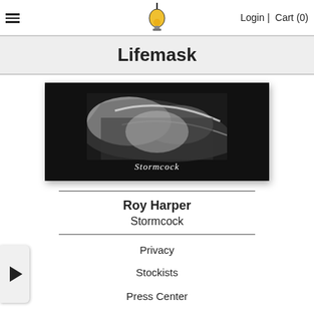Login | Cart (0)
Lifemask
[Figure (photo): Black and white album cover image with abstract shapes and the word 'Stormcock' in cursive script at the bottom]
Roy Harper
Stormcock
Privacy
Stockists
Press Center